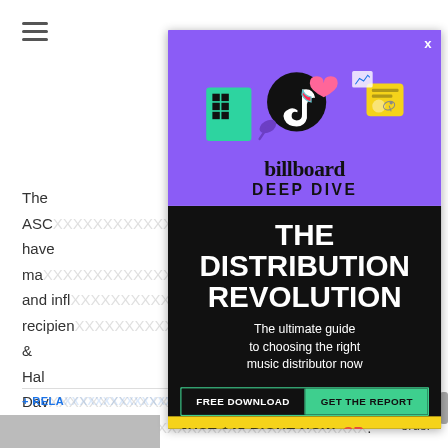[Figure (screenshot): Mobile web page screenshot showing a Billboard Deep Dive advertisement overlay on top of an article page. The ad promotes 'The Distribution Revolution' report with a purple top section featuring TikTok/social media icons and Billboard Deep Dive branding, and a dark bottom section with white bold text, a green GET THE REPORT button, and a yellow JUST $45 RIGHT NOW promo bar. Behind the overlay, partial article text about ASCAP is visible, along with a hamburger menu icon, a related links section, and a partial grayscale photo.]